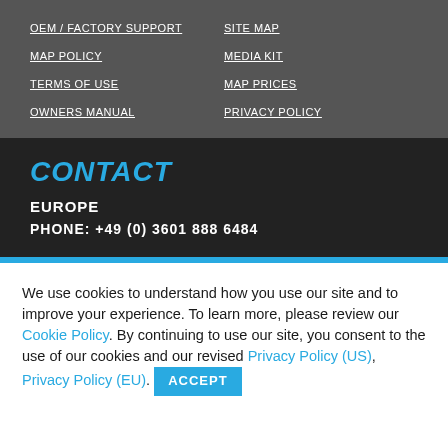OEM / FACTORY SUPPORT
MAP POLICY
TERMS OF USE
OWNERS MANUAL
SITE MAP
MEDIA KIT
MAP PRICES
PRIVACY POLICY
CONTACT
EUROPE
PHONE: +49 (0) 3601 888 6484
We use cookies to understand how you use our site and to improve your experience. To learn more, please review our Cookie Policy. By continuing to use our site, you consent to the use of our cookies and our revised Privacy Policy (US), Privacy Policy (EU). ACCEPT